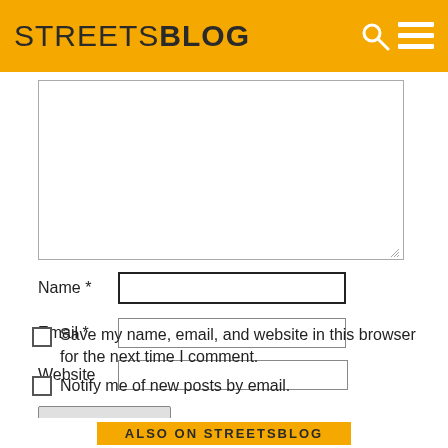STREETSBLOG
[Figure (screenshot): Comment form text area (empty), Name field, Email field, Website field, two checkboxes, and Post Comment button on StreetsBlog website]
Name *
Email *
Website
Save my name, email, and website in this browser for the next time I comment.
Notify me of new posts by email.
Post Comment
ALSO ON STREETSBLOG